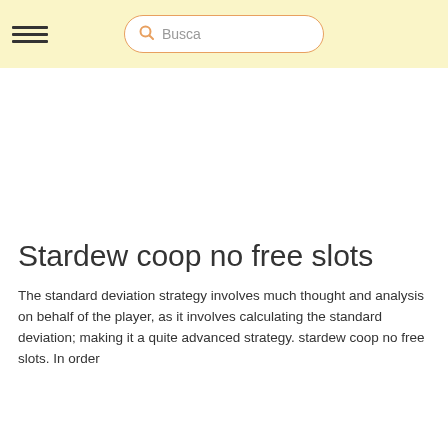☰  Busca
Stardew coop no free slots
The standard deviation strategy involves much thought and analysis on behalf of the player, as it involves calculating the standard deviation; making it a quite advanced strategy. stardew coop no free slots. In order